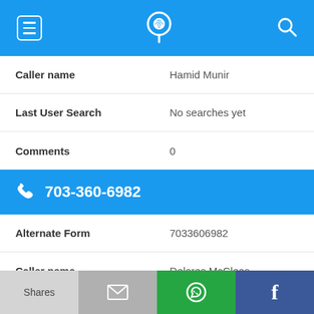[Figure (screenshot): Top navigation bar with menu (hamburger), phone/location icon, and search icon on blue background]
| Caller name | Hamid Munir |
| Last User Search | No searches yet |
| Comments | 0 |
703-360-6982
| Alternate Form | 7033606982 |
| Caller name | Delores McClees |
| Last User Search | No searches yet |
[Figure (screenshot): Bottom bar with Shares, email, WhatsApp, and Facebook buttons]